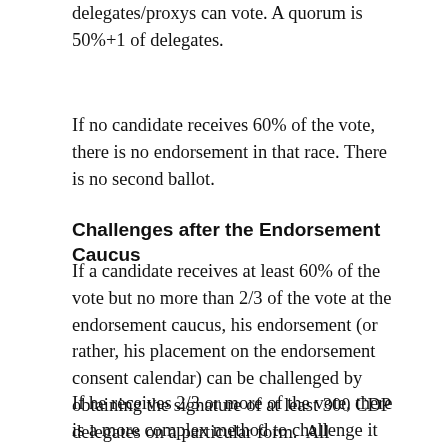delegates/proxys can vote. A quorum is 50%+1 of delegates.
If no candidate receives 60% of the vote, there is no endorsement in that race. There is no second ballot.
Challenges after the Endorsement Caucus
If a candidate receives at least 60% of the vote but no more than 2/3 of the vote at the endorsement caucus, his endorsement (or rather, his placement on the endorsement consent calendar) can be challenged by obtaining the signature of at least 300 CDP delegates on a particular form.  All delegates, regardless of where they live, are eligible to sign.
If he receives 2/3 or more of the vote, there is a more complex method to challenge it which includes 10 delegates from the relevant district filing a petition and a